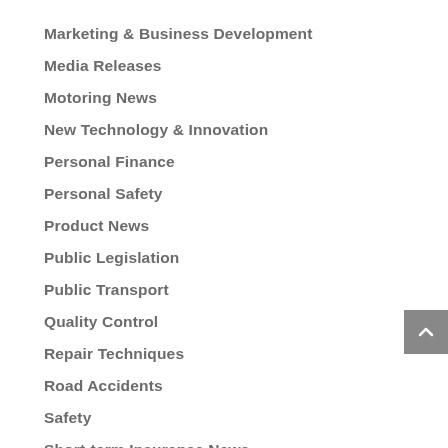Marketing & Business Development
Media Releases
Motoring News
New Technology & Innovation
Personal Finance
Personal Safety
Product News
Public Legislation
Public Transport
Quality Control
Repair Techniques
Road Accidents
Safety
Short-term Insurance News
Standards & Best Practices